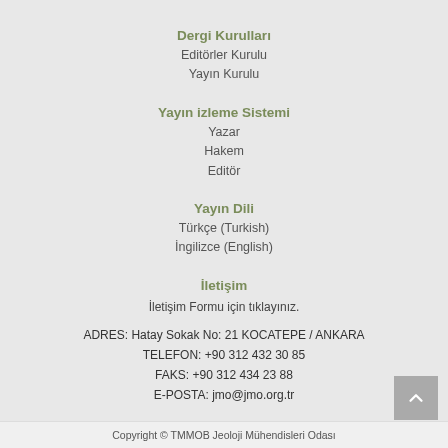Dergi Kurulları
Editörler Kurulu
Yayın Kurulu
Yayın izleme Sistemi
Yazar
Hakem
Editör
Yayın Dili
Türkçe (Turkish)
İngilizce (English)
İletişim
İletişim Formu için tıklayınız.
ADRES: Hatay Sokak No: 21 KOCATEPE / ANKARA
TELEFON: +90 312 432 30 85
FAKS: +90 312 434 23 88
E-POSTA: jmo@jmo.org.tr
Copyright © TMMOB Jeoloji Mühendisleri Odası